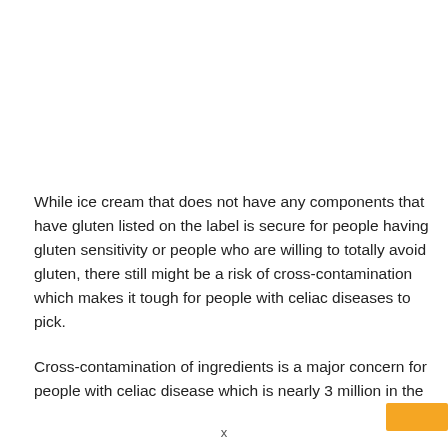While ice cream that does not have any components that have gluten listed on the label is secure for people having gluten sensitivity or people who are willing to totally avoid gluten, there still might be a risk of cross-contamination which makes it tough for people with celiac diseases to pick.
Cross-contamination of ingredients is a major concern for people with celiac disease which is nearly 3 million in the
x